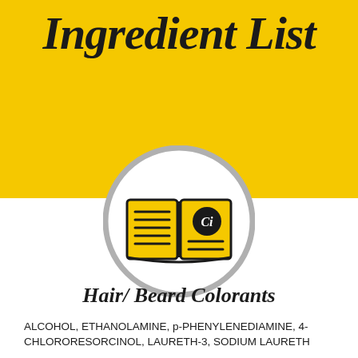Ingredient List
[Figure (illustration): Open book icon with golden/yellow pages and a circular logo on the right page, surrounded by a gray circle border]
Hair/ Beard Colorants
ALCOHOL, ETHANOLAMINE, p-PHENYLENEDIAMINE, 4-CHLORORESORCINOL, LAURETH-3, SODIUM LAURETH